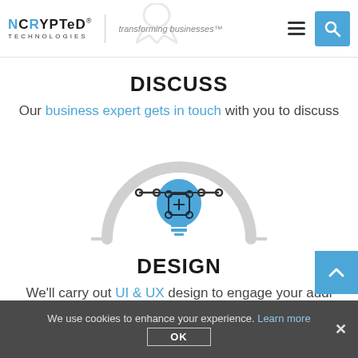NCRYPTeD® TECHNOLOGIES — transforming businesses™
DISCUSS
Our business expert gets in touch with you to discuss
[Figure (illustration): A design icon showing a lightbulb with a command/grid symbol inside it and horizontal bars underneath, framed by a large semicircular arc in light gray, with small horizontal lines extending from it — representing a design/wireframe concept.]
DESIGN
We'll carry out UI & UX design to engage your audi…
We use cookies to enhance your experience. Learn more  ×  OK